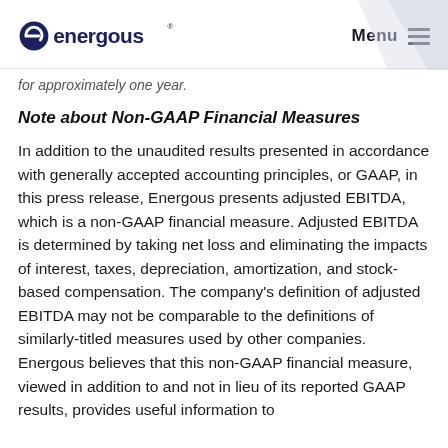energous | Menu
for approximately one year.
Note about Non-GAAP Financial Measures
In addition to the unaudited results presented in accordance with generally accepted accounting principles, or GAAP, in this press release, Energous presents adjusted EBITDA, which is a non-GAAP financial measure. Adjusted EBITDA is determined by taking net loss and eliminating the impacts of interest, taxes, depreciation, amortization, and stock-based compensation. The company's definition of adjusted EBITDA may not be comparable to the definitions of similarly-titled measures used by other companies. Energous believes that this non-GAAP financial measure, viewed in addition to and not in lieu of its reported GAAP results, provides useful information to